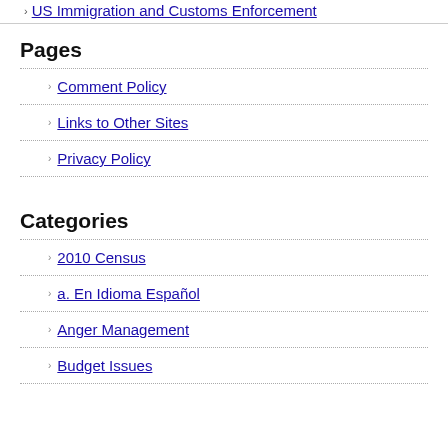US Immigration and Customs Enforcement
Pages
Comment Policy
Links to Other Sites
Privacy Policy
Categories
2010 Census
a. En Idioma Español
Anger Management
Budget Issues